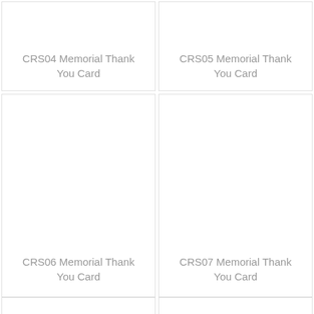[Figure (other): CRS04 Memorial Thank You Card product thumbnail — blank white card image]
CRS04 Memorial Thank You Card
[Figure (other): CRS05 Memorial Thank You Card product thumbnail — blank white card image]
CRS05 Memorial Thank You Card
[Figure (other): CRS06 Memorial Thank You Card product thumbnail — blank white card image]
CRS06 Memorial Thank You Card
[Figure (other): CRS07 Memorial Thank You Card product thumbnail — blank white card image]
CRS07 Memorial Thank You Card
[Figure (other): CRS08 Memorial Thank You Card product thumbnail — partially visible]
[Figure (other): CRS09 Memorial Thank You Card product thumbnail — partially visible]